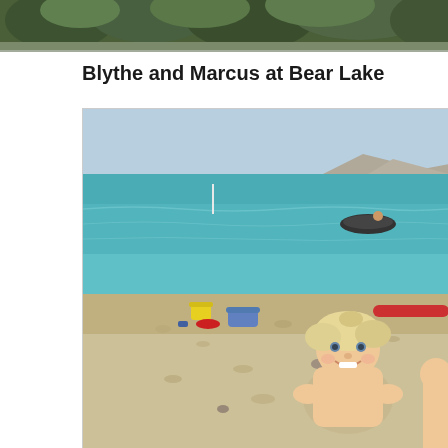[Figure (photo): Partial view of a photo at the top of the page showing trees and foliage along a shoreline, cropped at the bottom]
Blythe and Marcus at Bear Lake
[Figure (photo): A young blonde child sitting in the sand on a beach at Bear Lake. The turquoise lake is visible in the background with mountains on the far shore. A small inflatable raft with people is visible on the water. Beach toys including a yellow bucket and red items are scattered on the sand. A red pool noodle is visible to the right. The child is smiling at the camera.]